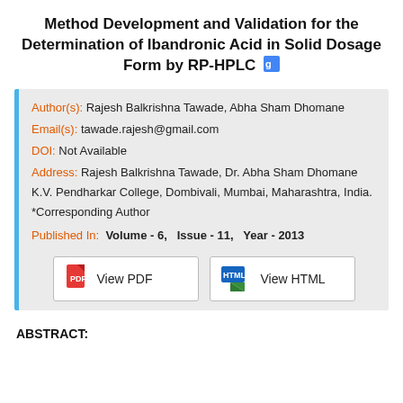Method Development and Validation for the Determination of Ibandronic Acid in Solid Dosage Form by RP-HPLC
Author(s): Rajesh Balkrishna Tawade, Abha Sham Dhomane
Email(s): tawade.rajesh@gmail.com
DOI: Not Available
Address: Rajesh Balkrishna Tawade, Dr. Abha Sham Dhomane K.V. Pendharkar College, Dombivali, Mumbai, Maharashtra, India.
*Corresponding Author
Published In: Volume - 6,  Issue - 11,  Year - 2013
ABSTRACT: